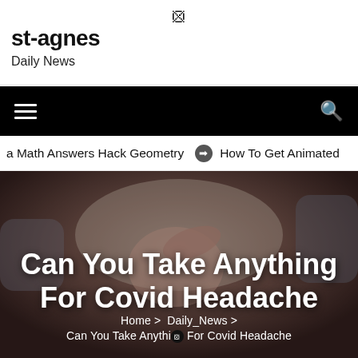⊗
st-agnes
Daily News
[Figure (screenshot): Black navigation bar with hamburger menu icon on the left and search icon on the right]
a Math Answers Hack Geometry  ⊙  How To Get Animated
[Figure (photo): Man lying down with hand on forehead as if having a headache, viewed from above]
Can You Take Anything For Covid Headache
Home > Daily_News > Can You Take Anything ⊗ For Covid Headache